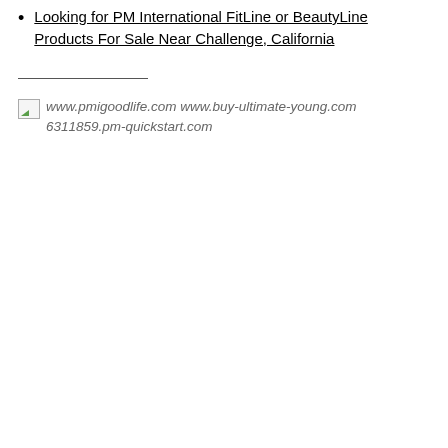Looking for PM International FitLine or BeautyLine Products For Sale Near Challenge, California
[Figure (other): Broken image icon followed by text: www.pmigoodlife.com www.buy-ultimate-young.com 6311859.pm-quickstart.com]